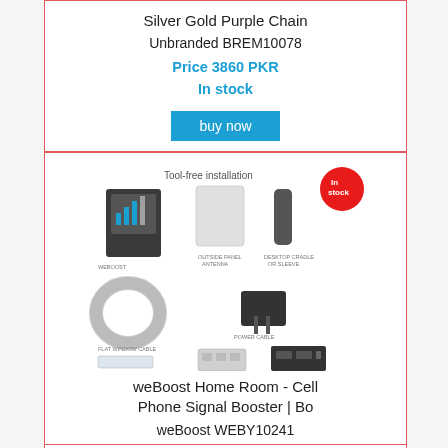Silver Gold Purple Chain
Unbranded BREM10078
Price 3860 PKR
In stock
buy now
[Figure (photo): Product image of weBoost Home Room Cell Phone Signal Booster kit showing tool-free installation with multiple components including antennas, cables, and a power supply. Red 'In stock' badge in top right corner.]
weBoost Home Room - Cell Phone Signal Booster | Bo
weBoost WEBY10241
Price 72156 PKR
In stock
buy now